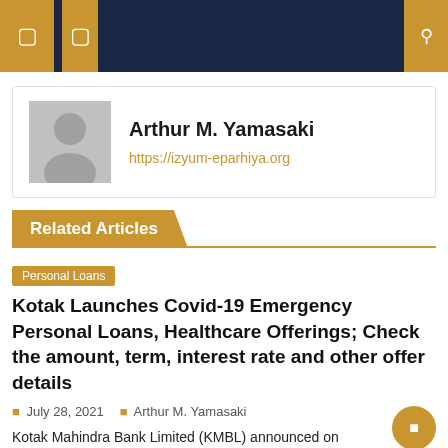Arthur M. Yamasaki
https://izyum-eparhiya.org
Related Articles
Personal Loans
Kotak Launches Covid-19 Emergency Personal Loans, Healthcare Offerings; Check the amount, term, interest rate and other offer details
July 28, 2021   Arthur M. Yamasaki
Kotak Mahindra Bank Limited (KMBL) announced on